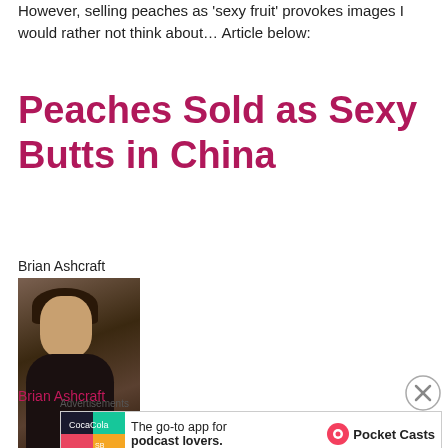However, selling peaches as 'sexy fruit' provokes images I would rather not think about…  Article below:
Peaches Sold as Sexy Butts in China
Brian Ashcraft
[Figure (photo): Headshot photo of a young man with short hair wearing a dark jacket, photographed in front of a brick background.]
Brian Ashcraft
[Figure (other): Close button (X in circle) overlay in the bottom right area]
Advertisements
[Figure (infographic): Pocket Casts advertisement banner: colorful logo on left, text 'The go-to app for podcast lovers.' with Pocket Casts logo and name on right.]